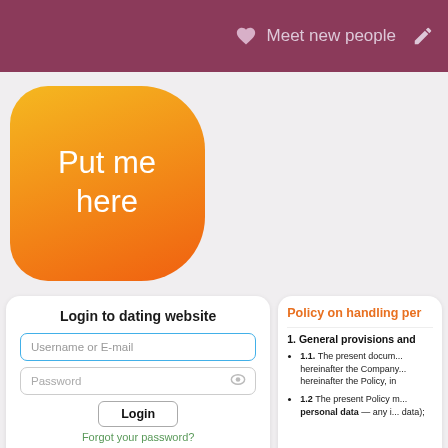Meet new people
[Figure (screenshot): Orange hexagon/rounded shape with text 'Put me here']
Login to dating website
[Figure (screenshot): Login form with Username or E-mail input, Password input, Login button, Forgot your password link, and Google sign-in button]
Policy on handling per...
1. General provisions and...
1.1. The present document... hereinafter the Company... hereinafter the Policy, in...
1.2 The present Policy m... personal data — any i... data);